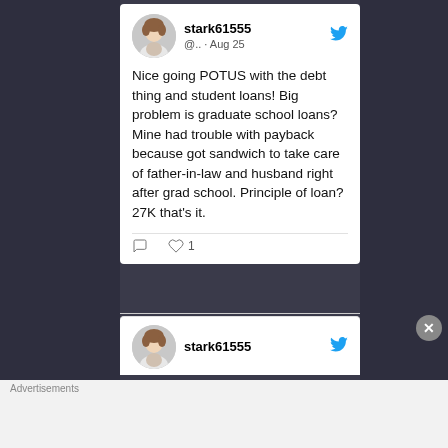[Figure (screenshot): A screenshot of a tweet from user 'stark61555' posted on Aug 25. The tweet reads: 'Nice going POTUS with the debt thing and student loans! Big problem is graduate school loans? Mine had trouble with payback because got sandwich to take care of father-in-law and husband right after grad school. Principle of loan? 27K that's it.' The tweet has 1 like and 0 comments. Below is a partial second tweet from the same user. At the bottom is a DuckDuckGo advertisement banner.]
Nice going POTUS with the debt thing and student loans! Big problem is graduate school loans? Mine had trouble with payback because got sandwich to take care of father-in-law and husband right after grad school. Principle of loan? 27K that's it.
stark61555 @.. · Aug 25
Advertisements
Search, browse, and email with more privacy. All in One Free App